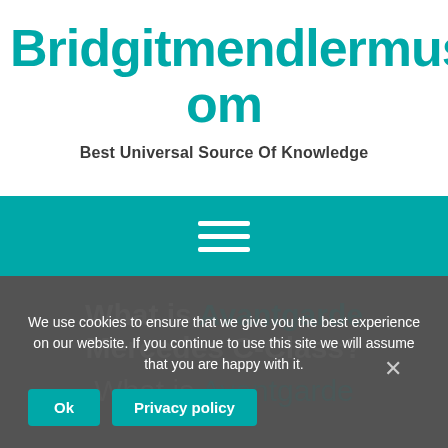Bridgitmendlermusic.Com
Best Universal Source Of Knowledge
[Figure (other): Teal navigation bar with hamburger menu icon (three horizontal white lines)]
What is Avantgarde Mercedes C-Class?
What is Avantgarde
We use cookies to ensure that we give you the best experience on our website. If you continue to use this site we will assume that you are happy with it.